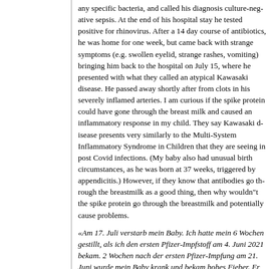any specific bacteria, and called his diagnosis culture-negative sepsis. At the end of his hospital stay he tested positive for rhinovirus. After a 14 day course of antibiotics, he was home for one week, but came back with strange symptoms (e.g. swollen eyelid, strange rashes, vomiting) bringing him back to the hospital on July 15, where he presented with what they called an atypical Kawasaki disease. He passed away shortly after from clots in his severely inflamed arteries. I am curious if the spike protein could have gone through the breast milk and caused an inflammatory response in my child. They say Kawasaki disease presents very similarly to the Multi-System Inflammatory Syndrome in Children that they are seeing in post Covid infections. (My baby also had unusual birth circumstances, as he was born at 37 weeks, triggered by appendicitis.) However, if they know that antibodies go through the breastmilk as a good thing, then why wouldn"t the spike protein go through the breastmilk and potentially cause problems.
«Am 17. Juli verstarb mein Baby. Ich hatte mein 6 Wochen altes Baby gestillt, als ich den ersten Pfizer-Impfstoff am 4. Juni 2021 bekam. 2 Wochen nach der ersten Pfizer-Impfung am 21. Juni wurde mein Baby krank und bekam hohes Fieber. Er wurde 2 Wochen lang mit IV-Antibiotika wegen einer angeblichen bakteriellen Infektion behandelt. Sie fanden jedoch keine spezifischen Bakterien und nannten seine Diagnose kulturnegative Sepsis. Am Ende seines Krankenhausaufenthalts wurde er positiv auf Rhinoviren getestet. Nach der 14-tägigen Antibiotikabehandlung war er eine Woche lang zu Hause,